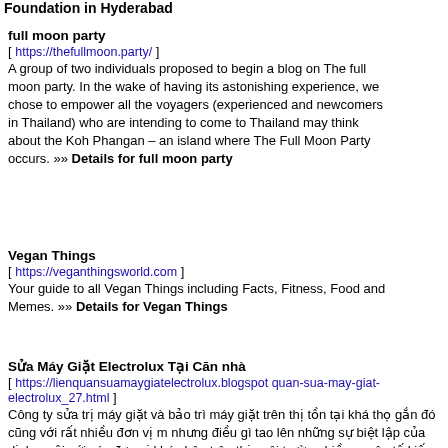Foundation in Hyderabad
full moon party
[ https://thefullmoon.party/ ] A group of two individuals proposed to begin a blog on The full moon party. In the wake of having its astonishing experience, we chose to empower all the voyagers (experienced and newcomers in Thailand) who are intending to come to Thailand may think about the Koh Phangan – an island where The Full Moon Party occurs. »» Details for full moon party
Vegan Things
[ https://veganthingsworld.com ] Your guide to all Vegan Things including Facts, Fitness, Food and Memes. »» Details for Vegan Things
Sửa Máy Giặt Electrolux Tại Căn nhà
[ https://lienquansuamaygiatelectrolux.blogspot quan-sua-may-giat-electrolux_27.html ] Công ty sửa trị máy giặt và bảo trì máy giặt trên thị tồn tại khá thọ gắn đó cũng với rất nhiều đơn vị m nhưng điều gì tao lên những sự biệt lập của dịch v nội với các đơn vị khác bên trên thị ngôi trường hiề nguyên tố kiến thức , Chất lượng tốt và thái độ đáp ngắn. »» Details for Sửa Máy Giặt Electrolux Tại